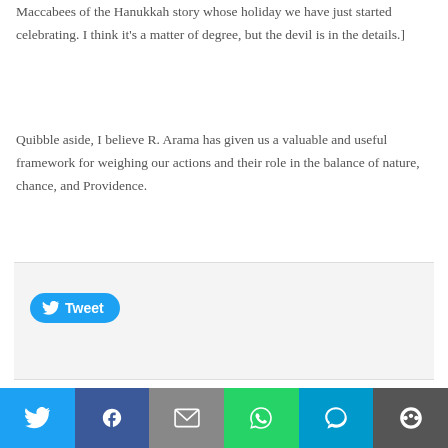Maccabees of the Hanukkah story whose holiday we have just started celebrating. I think it's a matter of degree, but the devil is in the details.]
Quibble aside, I believe R. Arama has given us a valuable and useful framework for weighing our actions and their role in the balance of nature, chance, and Providence.
[Figure (other): Tweet button in light gray share bar]
Previous: Daily Reyd
Next: Daily Reyd
ABOUT GIDON ROTHSTEIN
[Figure (infographic): Social sharing bar with Twitter, Facebook, Email, WhatsApp, SMS, and More buttons]